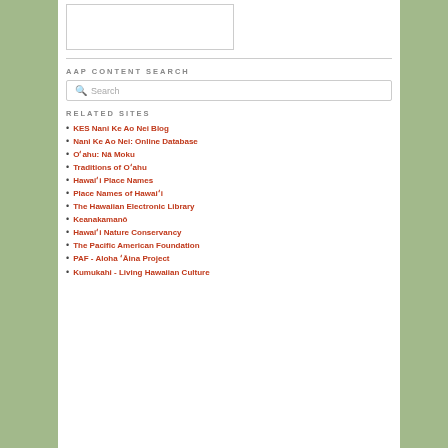[Figure (other): White rectangle image placeholder box]
AAP CONTENT SEARCH
[Figure (screenshot): Search input box with magnifier icon and placeholder text 'Search']
RELATED SITES
KES Nani Ke Ao Nei Blog
Nani Ke Ao Nei: Online Database
Oʻahu: Nā Moku
Traditions of Oʻahu
Hawaiʻi Place Names
Place Names of Hawaiʻi
The Hawaiian Electronic Library
Keanakamanō
Hawaiʻi Nature Conservancy
The Pacific American Foundation
PAF - Aloha ʻĀina Project
Kumukahi - Living Hawaiian Culture